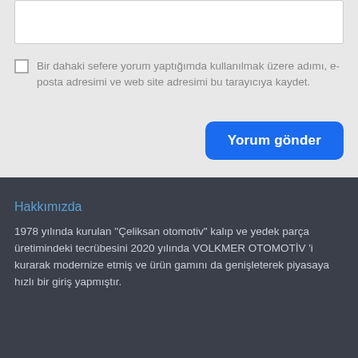[Input field]
Bir dahaki sefere yorum yaptığımda kullanılmak üzere adımı, e-posta adresimi ve web site adresimi bu tarayıcıya kaydet.
Yorum gönder
Hakkımızda
1978 yılında kurulan "Çeliksan otomotiv" kalıp ve yedek parça üretimindeki tecrübesini 2020 yılında VOLKMER OTOMOTİV 'i kurarak modernize etmiş ve ürün gamını da genişleterek piyasaya hızlı bir giriş yapmıştır.